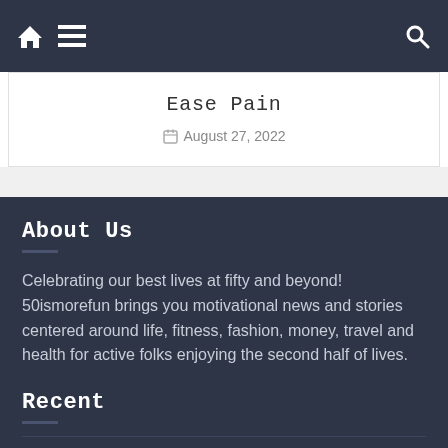Navigation bar with home icon, menu icon, and search icon
Ease Pain
August 27, 2022
About Us
Celebrating our best lives at fifty and beyond! 50ismorefun brings you motivational news and stories centered around life, fitness, fashion, money, travel and health for active folks enjoying the second half of lives.
Recent
Future and DJ Khaled Made a Song to Brag About Their Watches